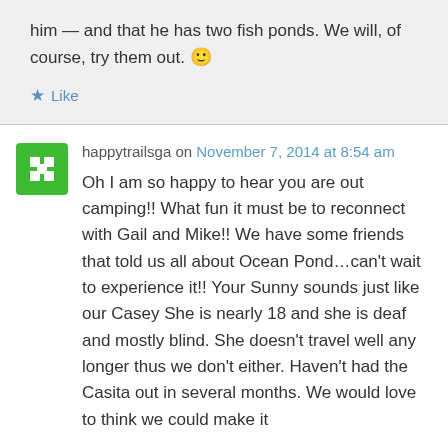him — and that he has two fish ponds. We will, of course, try them out. 🙂
Like
happytrailsga on November 7, 2014 at 8:54 am
Oh I am so happy to hear you are out camping!! What fun it must be to reconnect with Gail and Mike!! We have some friends that told us all about Ocean Pond…can't wait to experience it!! Your Sunny sounds just like our Casey She is nearly 18 and she is deaf and mostly blind. She doesn't travel well any longer thus we don't either. Haven't had the Casita out in several months. We would love to think we could make it